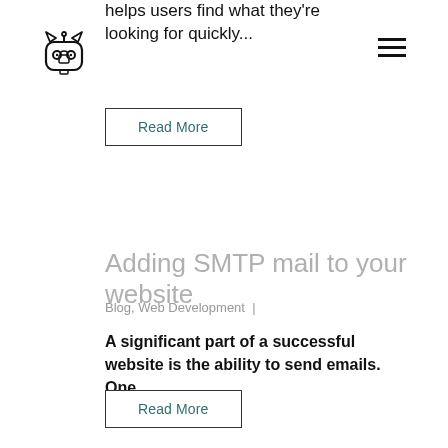[Figure (logo): Small cat-like robot logo icon in black outline style]
helps users find what they're looking for quickly...
[Figure (other): Hamburger menu icon (three horizontal lines)]
Read More
Adding SMTP mail to your website
Blog, Web Development  |
A significant part of a successful website is the ability to send emails. One...
Read More